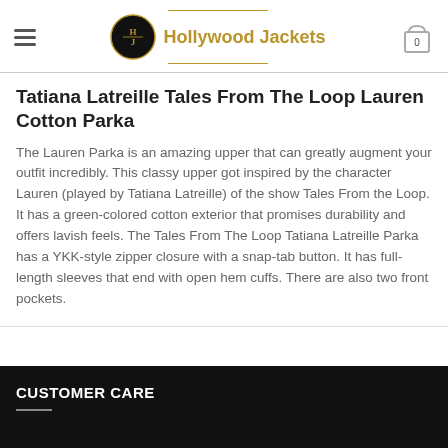Hollywood Jackets
Tatiana Latreille Tales From The Loop Lauren Cotton Parka
The Lauren Parka is an amazing upper that can greatly augment your outfit incredibly. This classy upper got inspired by the character Lauren (played by Tatiana Latreille) of the show Tales From the Loop. It has a green-colored cotton exterior that promises durability and offers lavish feels. The Tales From The Loop Tatiana Latreille Parka has a YKK-style zipper closure with a snap-tab button. It has full-length sleeves that end with open hem cuffs. There are also two front pockets.
CUSTOMER CARE